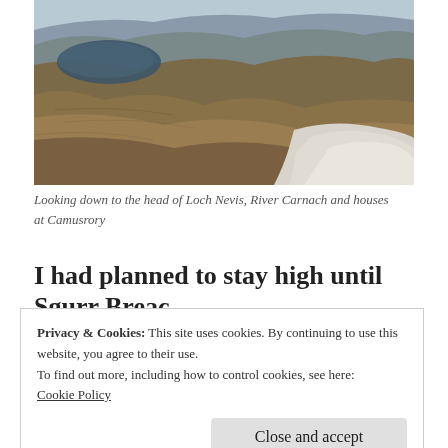[Figure (photo): Aerial landscape photo looking down to the head of Loch Nevis, showing the River Carnach valley, golden-brown moorland hills, a patch of snow on the right, and a dark loch (lake) visible upper left with houses at Camusrory.]
Looking down to the head of Loch Nevis, River Carnach and houses at Camusrory
I had planned to stay high until Sgurr Breac,
Privacy & Cookies: This site uses cookies. By continuing to use this website, you agree to their use.
To find out more, including how to control cookies, see here:
Cookie Policy

Close and accept
able to see the houses at Camusrory in the